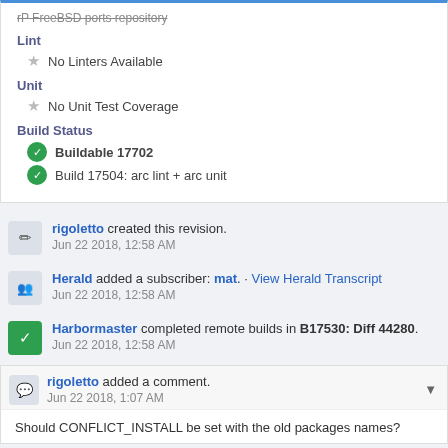rP FreeBSD ports repository (strikethrough)
Lint
No Linters Available
Unit
No Unit Test Coverage
Build Status
Buildable 17702
Build 17504: arc lint + arc unit
rigoletto created this revision.
Jun 22 2018, 12:58 AM
Herald added a subscriber: mat. · View Herald Transcript
Jun 22 2018, 12:58 AM
Harbormaster completed remote builds in B17530: Diff 44280.
Jun 22 2018, 12:58 AM
rigoletto added a comment.
Jun 22 2018, 1:07 AM
Should CONFLICT_INSTALL be set with the old packages names?